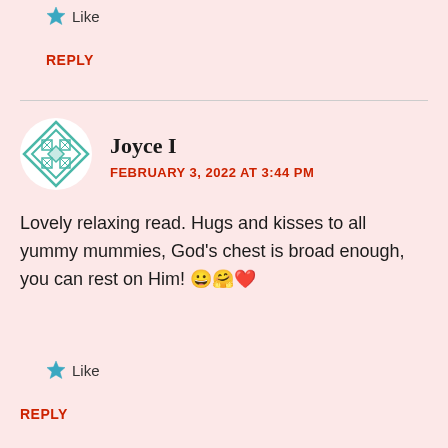★ Like
REPLY
Joyce I
FEBRUARY 3, 2022 AT 3:44 PM
Lovely relaxing read. Hugs and kisses to all yummy mummies, God's chest is broad enough, you can rest on Him! 😀🤗❤️
★ Like
REPLY